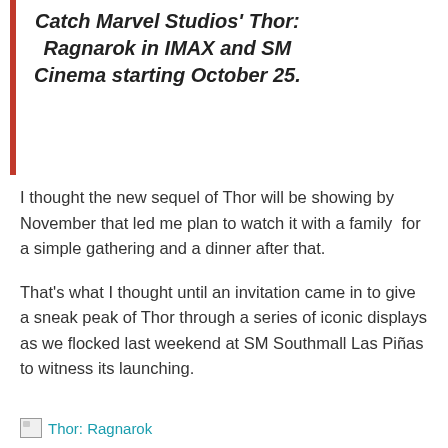Catch Marvel Studios' Thor: Ragnarok in IMAX and SM Cinema starting October 25.
I thought the new sequel of Thor will be showing by November that led me plan to watch it with a family  for a simple gathering and a dinner after that.
That's what I thought until an invitation came in to give a sneak peak of Thor through a series of iconic displays as we flocked last weekend at SM Southmall Las Piñas to witness its launching.
[Figure (photo): Broken image placeholder for Thor: Ragnarok photo with alt text 'Thor: Ragnarok']